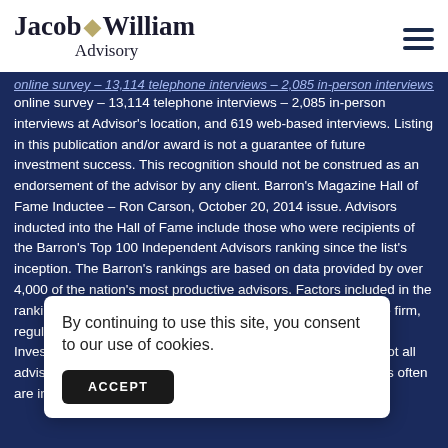[Figure (logo): Jacob William Advisory logo with diamond star emblem]
online survey – 13,114 telephone interviews – 2,085 in-person interviews at Advisor's location, and 619 web-based interviews. Listing in this publication and/or award is not a guarantee of future investment success. This recognition should not be construed as an endorsement of the advisor by any client. Barron's Magazine Hall of Fame Inductee – Ron Carson, October 20, 2014 issue. Advisors inducted into the Hall of Fame include those who were recipients of the Barron's Top 100 Independent Advisors ranking since the list's inception. The Barron's rankings are based on data provided by over 4,000 of the nation's most productive advisors. Factors included in the rankings: assets under management, revenue produced for the firm, regulatory record, quality of practice and philanthropic work. Investment performance isn't an explicit component because not all advisors have audited results and because performance figures often are influenced more by clients' risk tolerance than by an adv...
By continuing to use this site, you consent to our use of cookies.